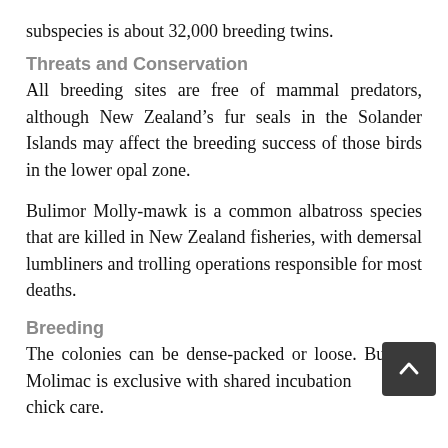subspecies is about 32,000 breeding twins.
Threats and Conservation
All breeding sites are free of mammal predators, although New Zealand’s fur seals in the Solander Islands may affect the breeding success of those birds in the lower opal zone.
Bulimor Molly-mawk is a common albatross species that are killed in New Zealand fisheries, with demersal lumbliners and trolling operations responsible for most deaths.
Breeding
The colonies can be dense-packed or loose. Buller’s Molimac is exclusive with shared incubation and chick care.